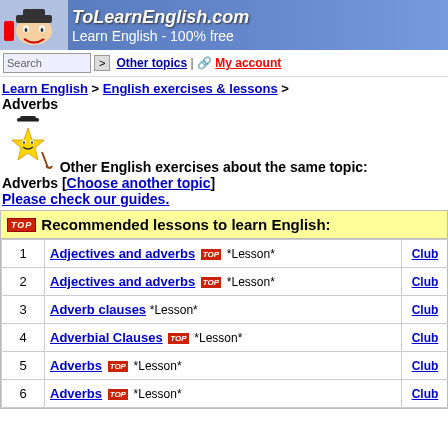[Figure (illustration): ToLearnEnglish.com website banner with cartoon character and text 'Learn English - 100% free']
Search | Other topics | My account
Learn English > English exercises & lessons > Adverbs
[Figure (illustration): Star cartoon mascot with top hat]
Other English exercises about the same topic: Adverbs [Choose another topic]
Please check our guides.
TOP Recommended lessons to learn English:
| # | Lesson | Club |
| --- | --- | --- |
| 1 | Adjectives and adverbs TOP *Lesson* | Club |
| 2 | Adjectives and adverbs TOP *Lesson* | Club |
| 3 | Adverb clauses *Lesson* | Club |
| 4 | Adverbial Clauses TOP *Lesson* | Club |
| 5 | Adverbs TOP *Lesson* | Club |
| 6 | Adverbs TOP *Lesson* | Club |